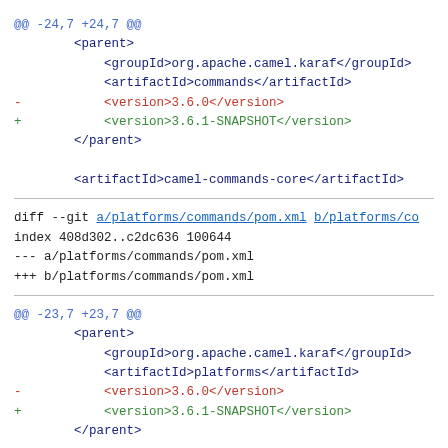@@ -24,7 +24,7 @@
        <parent>
            <groupId>org.apache.camel.karaf</groupId>
            <artifactId>commands</artifactId>
-           <version>3.6.0</version>
+           <version>3.6.1-SNAPSHOT</version>
        </parent>

        <artifactId>camel-commands-core</artifactId>
diff --git a/platforms/commands/pom.xml b/platforms/co
index 408d302..c2dc636 100644
--- a/platforms/commands/pom.xml
+++ b/platforms/commands/pom.xml
@@ -23,7 +23,7 @@
        <parent>
            <groupId>org.apache.camel.karaf</groupId>
            <artifactId>platforms</artifactId>
-           <version>3.6.0</version>
+           <version>3.6.1-SNAPSHOT</version>
        </parent>